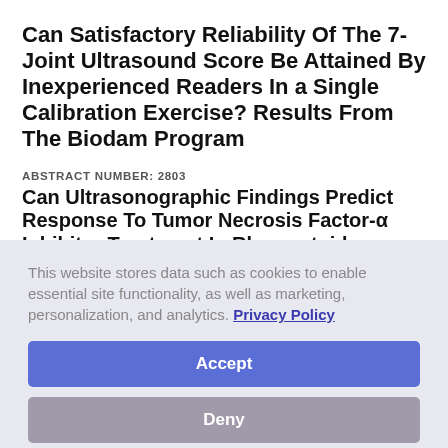Can Satisfactory Reliability Of The 7-Joint Ultrasound Score Be Attained By Inexperienced Readers In a Single Calibration Exercise? Results From The Biodam Program
ABSTRACT NUMBER: 2803
Can Ultrasonographic Findings Predict Response To Tumor Necrosis Factor-α Inhibitor Treatment In Rheumatoid Arthritis?
ABSTRACT NUMBER: 1208
This website stores data such as cookies to enable essential site functionality, as well as marketing, personalization, and analytics. Privacy Policy
Accept
Deny